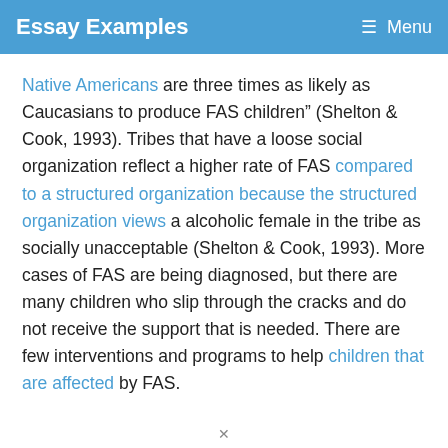Essay Examples   Menu
Native Americans are three times as likely as Caucasians to produce FAS children” (Shelton & Cook, 1993). Tribes that have a loose social organization reflect a higher rate of FAS compared to a structured organization because the structured organization views a alcoholic female in the tribe as socially unacceptable (Shelton & Cook, 1993). More cases of FAS are being diagnosed, but there are many children who slip through the cracks and do not receive the support that is needed. There are few interventions and programs to help children that are affected by FAS.